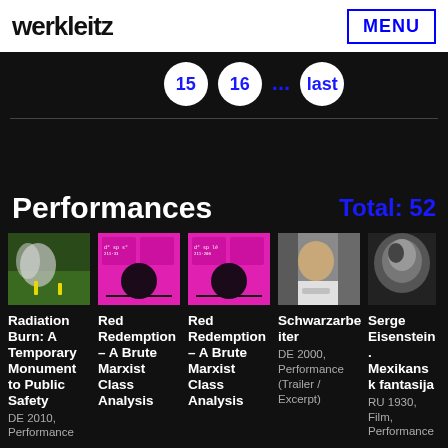werkleitz
MENU
15  16  ...  last
Performances
Total: 52
[Figure (photo): Thumbnail: outdoor scene with yellow figures on green grass and smoke]
Radiation Burn: A Temporary Monument to Public Safety
DE 2010, Performance
[Figure (photo): Thumbnail: magenta/pink background with text and dark blob]
Red Redemption – A Brute Marxist Class Analysis
[Figure (photo): Thumbnail: magenta/pink background with text and dark blob]
Red Redemption – A Brute Marxist Class Analysis
[Figure (photo): Thumbnail: man in white shirt with tattoos, indoor setting]
Schwarzarbeiter
DE 2000, Performance (Trailer / Excerpt)
[Figure (photo): Thumbnail: grayscale close-up of face]
Serge Eisenstein. Mexikanskaja Fantasija
RU 1930, Film, Performance